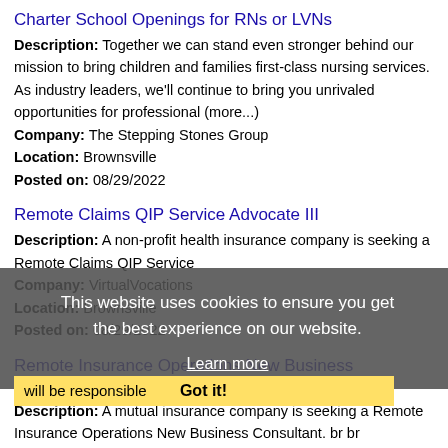Charter School Openings for RNs or LVNs
Description: Together we can stand even stronger behind our mission to bring children and families first-class nursing services. As industry leaders, we'll continue to bring you unrivaled opportunities for professional (more...)
Company: The Stepping Stones Group
Location: Brownsville
Posted on: 08/29/2022
Remote Claims QIP Service Advocate III
Description: A non-profit health insurance company is seeking a Remote Claims QIP Service
Company: VirtualVocations
Location: Brownsville
Posted on: 08/29/2022
Remote Insurance Operations New Business Consultant
Description: A mutual insurance company is seeking a Remote Insurance Operations New Business Consultant. br br Candidates will be responsible
Company: VirtualVocations
Location: Brownsville
Posted on: 08/29/2022
This website uses cookies to ensure you get the best experience on our website. Learn more Got it!